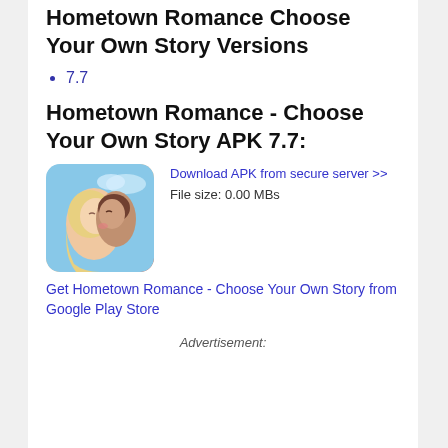Hometown Romance Choose Your Own Story Versions
7.7
Hometown Romance - Choose Your Own Story APK 7.7:
[Figure (illustration): App icon showing two people about to kiss against a blue sky background]
Download APK from secure server >>
File size: 0.00 MBs
Get Hometown Romance - Choose Your Own Story from Google Play Store
Advertisement: